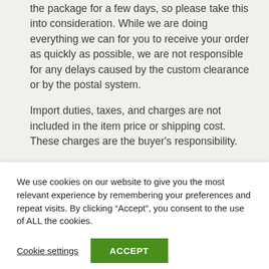the package for a few days, so please take this into consideration. While we are doing everything we can for you to receive your order as quickly as possible, we are not responsible for any delays caused by the custom clearance or by the postal system.
Import duties, taxes, and charges are not included in the item price or shipping cost. These charges are the buyer's responsibility.
Please check with your country's customs office to determine what the additional costs will be prior to
We use cookies on our website to give you the most relevant experience by remembering your preferences and repeat visits. By clicking “Accept”, you consent to the use of ALL the cookies.
Cookie settings
ACCEPT